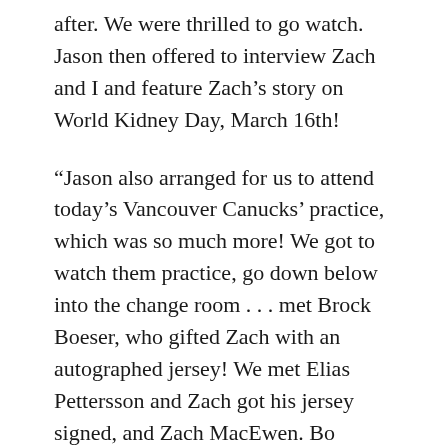after. We were thrilled to go watch. Jason then offered to interview Zach and I and feature Zach’s story on World Kidney Day, March 16th!
“Jason also arranged for us to attend today’s Vancouver Canucks’ practice, which was so much more! We got to watch them practice, go down below into the change room . . . met Brock Boeser, who gifted Zach with an autographed jersey! We met Elias Pettersson and Zach got his jersey signed, and Zach MacEwen. Bo Horvat came over and said hello again and asked how Zach was doing. It was all very exciting!